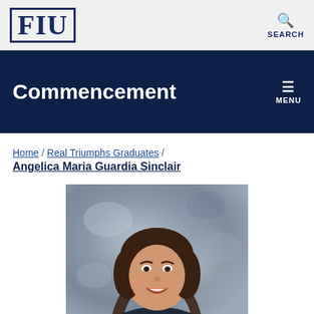FIU | SEARCH
Commencement
Home / Real Triumphs Graduates / Angelica Maria Guardia Sinclair
[Figure (photo): Portrait photograph of Angelica Maria Guardia Sinclair, a woman with long dark hair, smiling, against a gray mottled background]